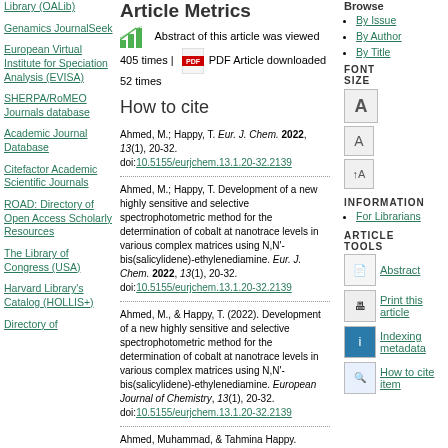Library (OALib)
Genamics JournalSeek
European Virtual Institute for Speciation Analysis (EVISA)
SHERPA/RoMEO Journals database
Academic Journal Database
Citefactor Academic Scientific Journals
ROAD: Directory of Open Access Scholarly Resources
The Library of Congress (USA)
Harvard Library's Catalog (HOLLIS+)
Directory of
Article Metrics
Abstract of this article was viewed 405 times | PDF Article downloaded 52 times
How to cite
Ahmed, M.; Happy, T. Eur. J. Chem. 2022, 13(1), 20-32. doi:10.5155/eurjchem.13.1.20-32.2139
Ahmed, M.; Happy, T. Development of a new highly sensitive and selective spectrophotometric method for the determination of cobalt at nanotrace levels in various complex matrices using N,N'-bis(salicylidene)-ethylenediamine. Eur. J. Chem. 2022, 13(1), 20-32. doi:10.5155/eurjchem.13.1.20-32.2139
Ahmed, M., & Happy, T. (2022). Development of a new highly sensitive and selective spectrophotometric method for the determination of cobalt at nanotrace levels in various complex matrices using N,N'-bis(salicylidene)-ethylenediamine. European Journal of Chemistry, 13(1), 20-32. doi:10.5155/eurjchem.13.1.20-32.2139
Ahmed, Muhammad, & Tahmina Happy. "Development of a new highly sensitive and selective spectrophotometric method for the determination of cobalt at nanotrace levels in various complex
Browse
By Issue
By Author
By Title
FONT SIZE
INFORMATION
For Librarians
ARTICLE TOOLS
Abstract
Print this article
Indexing metadata
How to cite item